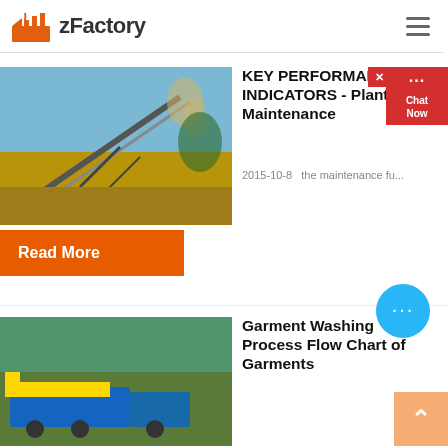zFactory
[Figure (photo): Industrial conveyor belt carrying ore/aggregate material against a blue sky background]
KEY PERFORMANCE INDICATORS - Plant Maintenance
2015-10-8   the maintenance fu...
Read More
[Figure (screenshot): Red chat widget overlay with 'Chat Now' button and close X, showing message dots icon]
[Figure (photo): Chat bubble button (teal circle with three dots) floating bottom right]
[Figure (photo): Industrial garment washing/processing machinery outdoors with green trees in background, yellow and blue equipment]
Garment Washing Process Flow Chart of Garments